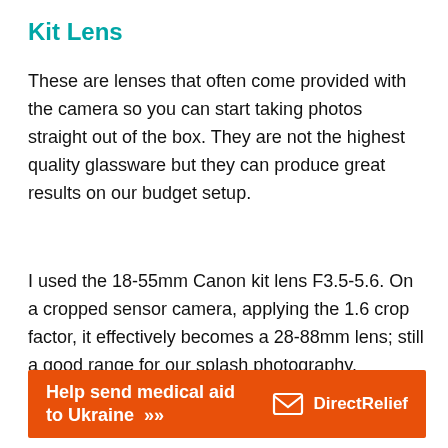Kit Lens
These are lenses that often come provided with the camera so you can start taking photos straight out of the box. They are not the highest quality glassware but they can produce great results on our budget setup.
I used the 18-55mm Canon kit lens F3.5-5.6. On a cropped sensor camera, applying the 1.6 crop factor, it effectively becomes a 28-88mm lens; still a good range for our splash photography.
[Figure (other): Orange advertisement banner: Help send medical aid to Ukraine >> with DirectRelief logo]